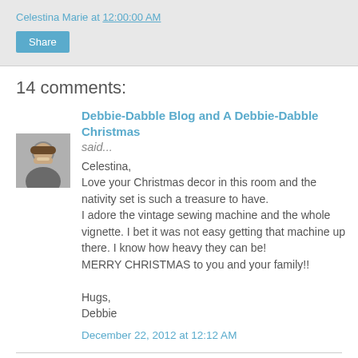Celestina Marie at 12:00:00 AM
Share
14 comments:
Debbie-Dabble Blog and A Debbie-Dabble Christmas said...
[Figure (photo): Avatar photo of Debbie, a woman with glasses and short hair]
Celestina,
Love your Christmas decor in this room and the nativity set is such a treasure to have.
I adore the vintage sewing machine and the whole vignette. I bet it was not easy getting that machine up there. I know how heavy they can be!
MERRY CHRISTMAS to you and your family!!

Hugs,
Debbie
December 22, 2012 at 12:12 AM